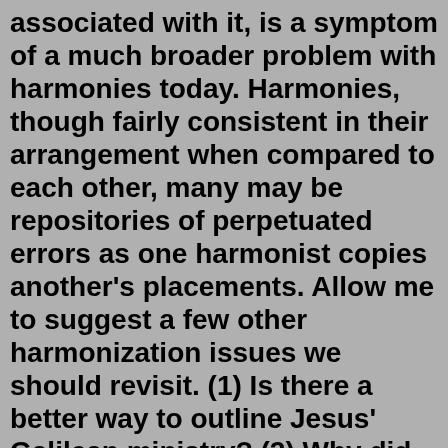associated with it, is a symptom of a much broader problem with harmonies today. Harmonies, though fairly consistent in their arrangement when compared to each other, many may be repositories of perpetuated errors as one harmonist copies another's placements. Allow me to suggest a few other harmonization issues we should revisit. (1) Is there a better way to outline Jesus' Galilean ministry? (2) Why did Matthew arrange chapters 8-13 differently than Mark and Luke? (3) Why are Luke 9:18-19:28 and 7:1-11:54 interwoven when there is not one verse, or even a single word, in common between them? (4) Can a case be made that the Gospels are essentially chronologically accurate and